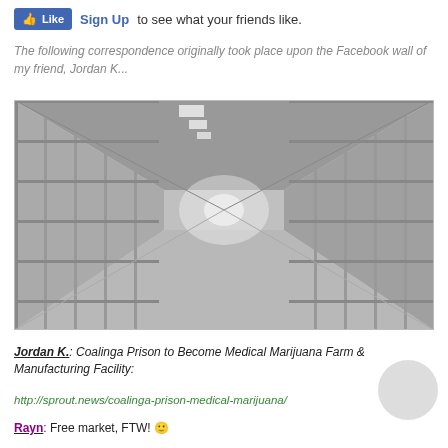[Figure (screenshot): Facebook Like button bar with 'Sign Up to see what your friends like.']
The following correspondence originally took place upon the Facebook wall of my friend, Jordan K...
[Figure (photo): Black and white photo of a prison corridor with cell bars on both sides receding into the distance]
Jordan K.: Coalinga Prison to Become Medical Marijuana Farm & Manufacturing Facility:
http://sprout.news/coalinga-prison-medical-marijuana/
Rayn: Free market, FTW! 🙂